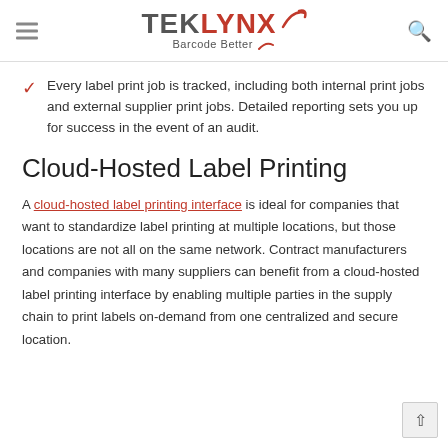TEKLYNX Barcode Better
Every label print job is tracked, including both internal print jobs and external supplier print jobs. Detailed reporting sets you up for success in the event of an audit.
Cloud-Hosted Label Printing
A cloud-hosted label printing interface is ideal for companies that want to standardize label printing at multiple locations, but those locations are not all on the same network. Contract manufacturers and companies with many suppliers can benefit from a cloud-hosted label printing interface by enabling multiple parties in the supply chain to print labels on-demand from one centralized and secure location.